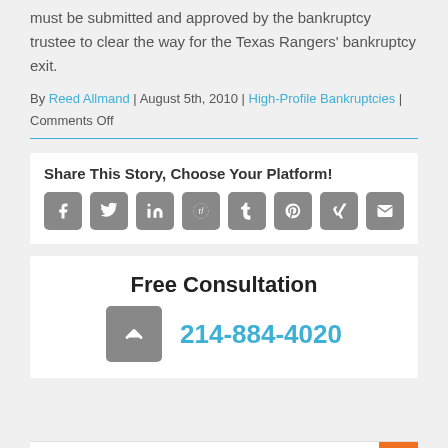must be submitted and approved by the bankruptcy trustee to clear the way for the Texas Rangers' bankruptcy exit.
By Reed Allmand | August 5th, 2010 | High-Profile Bankruptcies | Comments Off
Share This Story, Choose Your Platform!
[Figure (infographic): Social media sharing icons: Facebook, Twitter, LinkedIn, Reddit, Tumblr, Pinterest, XING, Email]
Free Consultation
214-884-4020